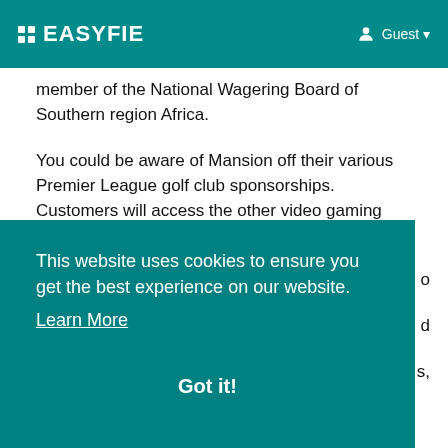EASYFIE  Guest
member of the National Wagering Board of Southern region Africa.
You could be aware of Mansion off their various Premier League golf club sponsorships. Customers will access the other video gaming verticals from the same account.
For that trigger, this bookmaker need to present a reactive and practical betting site always.
This website uses cookies to ensure you get the best experience on our website. Learn More  Got it!
and various other international events like who